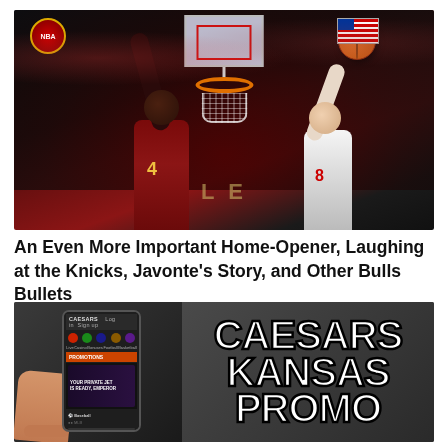[Figure (photo): NBA basketball game action photo showing two players — one in a dark red Cavaliers jersey (#4) and one in a white Bulls jersey (#8) — competing near the basket/hoop. The Cavaliers player is blocking or dunking over the Bulls player. NBA logo visible top left, US flag top right, arena crowd in background.]
An Even More Important Home-Opener, Laughing at the Knicks, Javonte's Story, and Other Bulls Bullets
[Figure (photo): Advertisement image for Caesars Kansas Promo. Left side shows a hand holding a smartphone displaying the Caesars Sportsbook app with promotions visible including 'Your Private Jet is Ready, Emperor' and various sports betting options. Right side shows large bold white text on dark gray background reading 'CAESARS KANSAS PROMO'.]